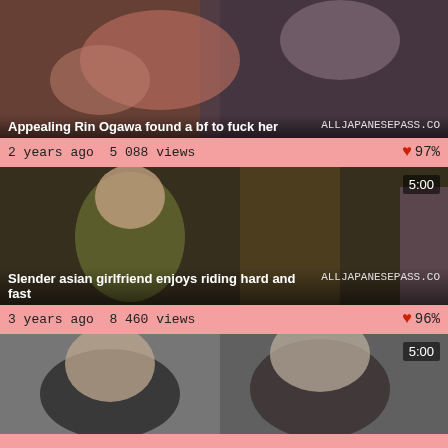[Figure (screenshot): Video thumbnail showing adult content - first video]
Appealing Rin Ogawa found a bf to fuck her
2 years ago  5 088 views
97%
[Figure (screenshot): Video thumbnail showing adult content - second video, duration 5:00]
Slender asian girlfriend enjoys riding hard and fast
3 years ago  8 460 views
96%
[Figure (screenshot): Video thumbnail showing adult content - third video, duration 5:00]